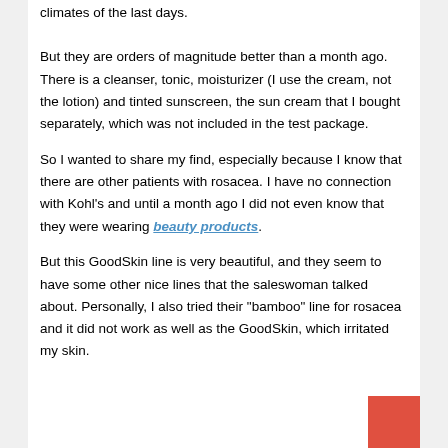climates of the last days.
But they are orders of magnitude better than a month ago. There is a cleanser, tonic, moisturizer (I use the cream, not the lotion) and tinted sunscreen, the sun cream that I bought separately, which was not included in the test package.
So I wanted to share my find, especially because I know that there are other patients with rosacea. I have no connection with Kohl's and until a month ago I did not even know that they were wearing beauty products.
But this GoodSkin line is very beautiful, and they seem to have some other nice lines that the saleswoman talked about. Personally, I also tried their "bamboo" line for rosacea and it did not work as well as the GoodSkin, which irritated my skin.